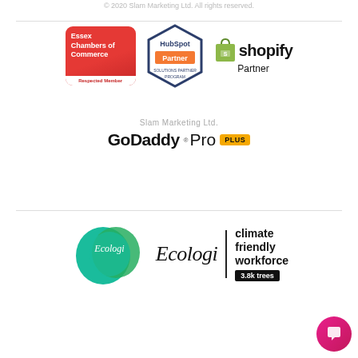© 2020 Slam Marketing Ltd. All rights reserved.
[Figure (logo): Essex Chambers of Commerce – Respected Member badge (red rounded rectangle)]
[Figure (logo): HubSpot Partner – Solutions Partner Program hexagonal badge]
[Figure (logo): Shopify Partner logo with shopping bag icon]
Slam Marketing Ltd.
[Figure (logo): GoDaddy Pro PLUS logo with yellow PLUS badge]
[Figure (logo): Ecologi circular logo (teal/green blob) with Ecologi wordmark and climate friendly workforce 3.8k trees badge]